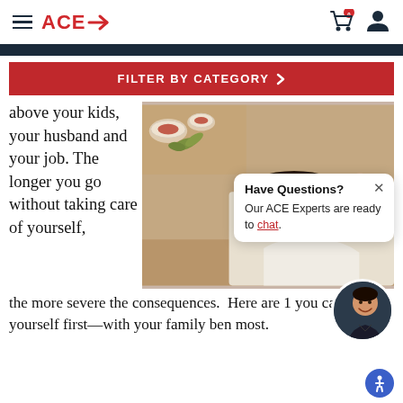ACE→ | Navigation header with cart and user icons
FILTER BY CATEGORY >
above your kids, your husband and your job. The longer you go without taking care of yourself,
[Figure (photo): Woman lying down receiving a facial massage at a spa, with bowls of herbs and berries in the background]
Have Questions? Our ACE Experts are ready to chat.
the more severe the consequences.  Here are 1 you can put yourself first—with your family ben most.